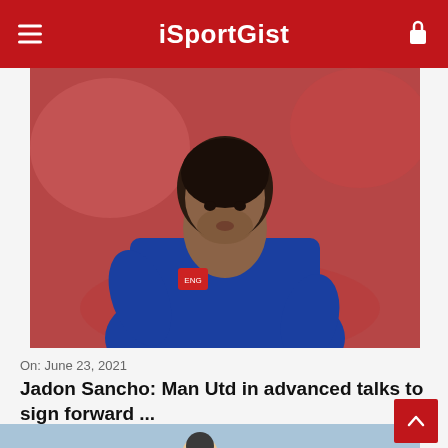iSportGist
[Figure (photo): Jadon Sancho in blue England football jersey, mid-action, blurred red background]
On: June 23, 2021
Jadon Sancho: Man Utd in advanced talks to sign forward ...
[Figure (photo): Partially visible footballer in stadium setting]